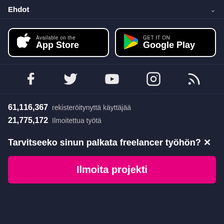Ehdot
[Figure (logo): App Store and Google Play download buttons]
[Figure (infographic): Social media icons: Facebook, Twitter, YouTube, Instagram, RSS]
61,116,367 rekisteröitynyttä käyttäjää
21,775,172 Ilmoitettua työtä
Tarvitseeko sinun palkata freelancer työhön?
Ilmoita projekti